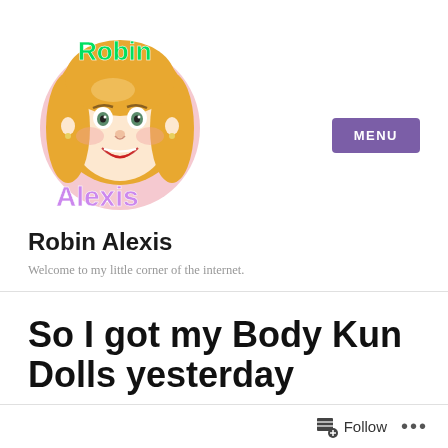[Figure (illustration): Cartoon/bitmoji-style avatar of a woman with blonde hair and a smile. Green text 'Robin' appears at the top and purple text 'Alexis' appears at the bottom of the avatar image.]
MENU
Robin Alexis
Welcome to my little corner of the internet.
So I got my Body Kun Dolls yesterday
Follow